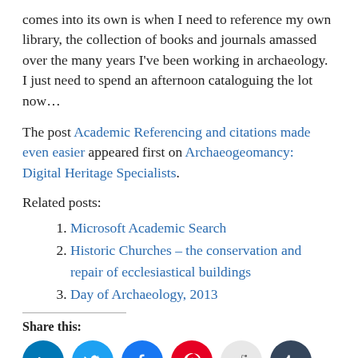comes into its own is when I need to reference my own library, the collection of books and journals amassed over the many years I've been working in archaeology. I just need to spend an afternoon cataloguing the lot now…
The post Academic Referencing and citations made even easier appeared first on Archaeogeomancy: Digital Heritage Specialists.
Related posts:
Microsoft Academic Search
Historic Churches – the conservation and repair of ecclesiastical buildings
Day of Archaeology, 2013
Share this: